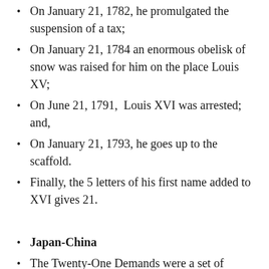On January 21, 1782, he promulgated the suspension of a tax;
On January 21, 1784 an enormous obelisk of snow was raised for him on the place Louis XV;
On June 21, 1791,  Louis XVI was arrested; and,
On January 21, 1793, he goes up to the scaffold.
Finally, the 5 letters of his first name added to XVI gives 21.
Japan-China
The Twenty-One Demands were a set of demands...